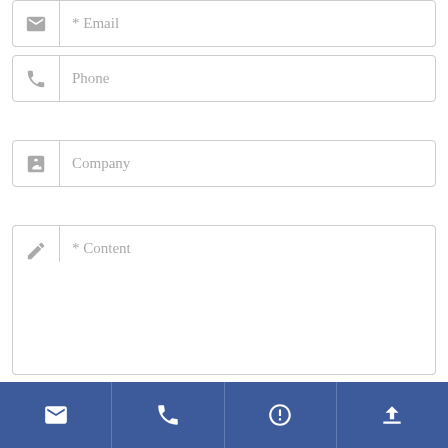[Figure (screenshot): Contact form with Email field (partially visible at top), Phone field, Company field, Content textarea, Submit button, and footer navigation bar with email, phone, chat, and upload icons.]
* Email
Phone
Company
* Content
SUBMIT
Footer navigation bar with email, phone, chat, and upload icons